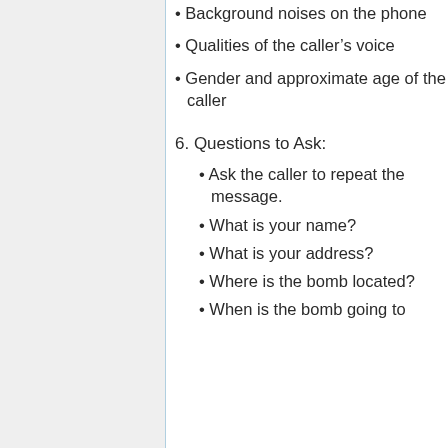• Background noises on the phone
• Qualities of the caller's voice
• Gender and approximate age of the caller
6. Questions to Ask:
• Ask the caller to repeat the message.
• What is your name?
• What is your address?
• Where is the bomb located?
• When is the bomb going to